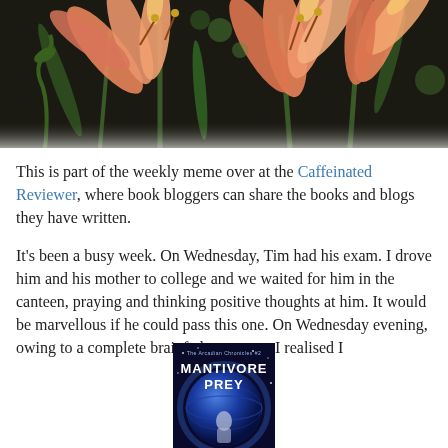[Figure (photo): Close-up photograph of orange and pink lily flowers with green stems against a dark background]
This is part of the weekly meme over at the Caffeinated Reviewer, where book bloggers can share the books and blogs they have written.
It's been a busy week. On Wednesday, Tim had his exam. I drove him and his mother to college and we waited for him in the canteen, praying and thinking positive thoughts at him. It would be marvellous if he could pass this one. On Wednesday evening, owing to a complete brainfade moment, I realised I
[Figure (photo): Book cover for 'Mantivore Prey' from the Arcadian Chronicles series, showing a blue glowing planet and a figure]